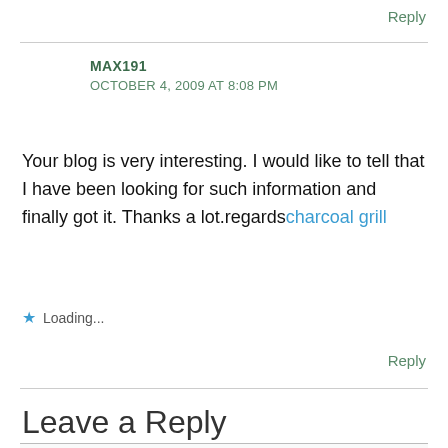Reply
MAX191
OCTOBER 4, 2009 AT 8:08 PM
Your blog is very interesting. I would like to tell that I have been looking for such information and finally got it. Thanks a lot.regardscharcoal grill
Loading...
Reply
Leave a Reply